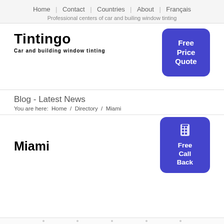Home | Contact | Countries | About | Français
Professional centers of car and builing window tinting
Tintingo
Car and building window tinting
[Figure (other): Blue rounded button with white bold text: Free Price Quote]
Blog - Latest News
You are here:  Home / Directory / Miami
[Figure (other): Blue rounded button with phone icon and white bold text: Free Call Back]
Miami